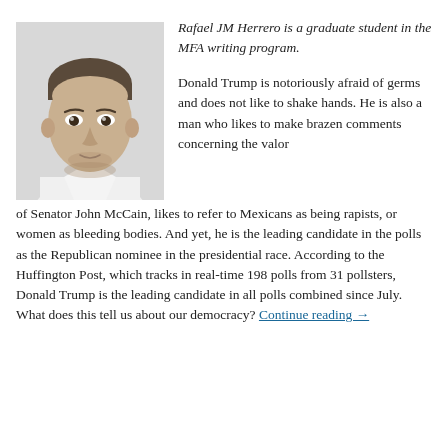[Figure (photo): Black and white headshot photo of Rafael JM Herrero, a young man wearing a white polo shirt, looking slightly downward.]
Rafael JM Herrero is a graduate student in the MFA writing program.
Donald Trump is notoriously afraid of germs and does not like to shake hands. He is also a man who likes to make brazen comments concerning the valor of Senator John McCain, likes to refer to Mexicans as being rapists, or women as bleeding bodies. And yet, he is the leading candidate in the polls as the Republican nominee in the presidential race. According to the Huffington Post, which tracks in real-time 198 polls from 31 pollsters, Donald Trump is the leading candidate in all polls combined since July. What does this tell us about our democracy? Continue reading →